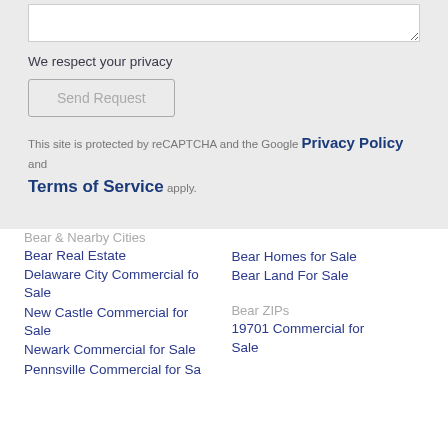[textarea input box]
We respect your privacy
Send Request
This site is protected by reCAPTCHA and the Google Privacy Policy and Terms of Service apply.
Bear & Nearby Cities
Bear Real Estate
Delaware City Commercial fo Sale
New Castle Commercial for Sale
Newark Commercial for Sale
Bear Homes for Sale
Bear Land For Sale
Bear ZIPs
19701 Commercial for Sale